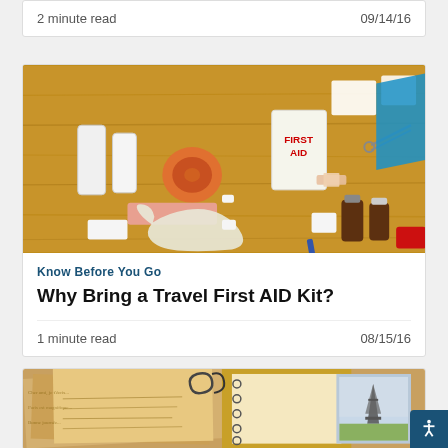2 minute read	09/14/16
[Figure (photo): A first aid kit laid out on a wooden surface, showing bandages, gloves, brown medicine bottles, scissors, gauze, a blue bag, and a red case with various medical supplies.]
Know Before You Go
Why Bring a Travel First AID Kit?
1 minute read	08/15/16
[Figure (photo): Vintage travel postcards, old notebooks with paperclips, and a photo of the Eiffel Tower in Paris arranged on a surface.]